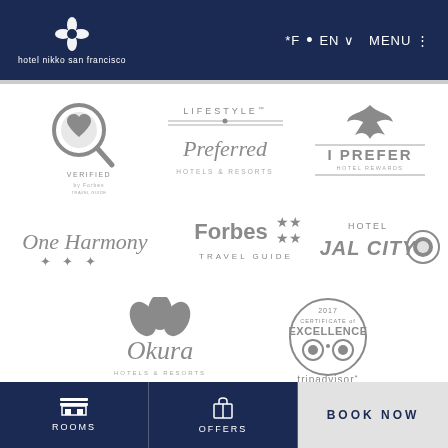[Figure (logo): Hotel Nikko San Francisco logo - flower icon and text on dark blue header]
[Figure (logo): Navigation bar with *F, EN (dropdown), MENU options on dark blue header]
[Figure (logo): Verified by Forbes Travel Guide logo - circular magnifying glass with heart]
[Figure (logo): Lifestyle Preferred Hotels and Resorts logo]
[Figure (logo): I Prefer Hotel Rewards logo with agave plant icon]
[Figure (logo): One Harmony logo with three stars]
[Figure (logo): Forbes Travel Guide logo with stars]
[Figure (logo): Hotel JAL City logo with JAL airline symbol]
[Figure (logo): Okura Hotels and Resorts logo]
[Figure (logo): TripAdvisor 2017 Certificate of Excellence logo]
ROOMS
OFFERS
BOOK NOW